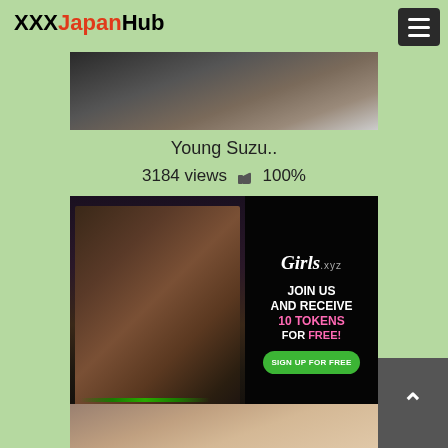XXXJapanHub
[Figure (screenshot): Partial video thumbnail at top of page showing a dark scene]
Young Suzu..
3184 views 👍 100%
[Figure (photo): Girls.xyz advertisement banner — JOIN US AND RECEIVE 10 TOKENS FOR FREE! with SIGN UP FOR FREE button]
[Figure (screenshot): Partial video thumbnail at bottom of page]